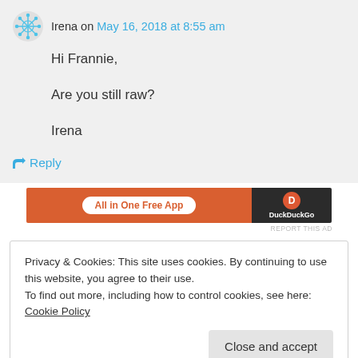Irena on May 16, 2018 at 8:55 am
Hi Frannie,

Are you still raw?

Irena
↳ Reply
[Figure (screenshot): Advertisement banner: orange section with 'All in One Free App' button and DuckDuckGo logo on dark background]
REPORT THIS AD
Privacy & Cookies: This site uses cookies. By continuing to use this website, you agree to their use.
To find out more, including how to control cookies, see here: Cookie Policy
Close and accept
lifestyle brings—especially regarding the